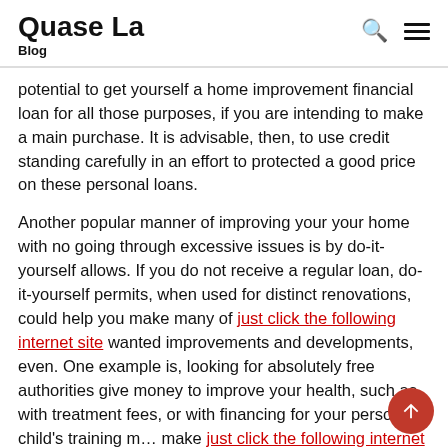Quase La
Blog
potential to get yourself a home improvement financial loan for all those purposes, if you are intending to make a main purchase. It is advisable, then, to use credit standing carefully in an effort to protected a good price on these personal loans.
Another popular manner of improving your your home with no going through excessive issues is by do-it-yourself allows. If you do not receive a regular loan, do-it-yourself permits, when used for distinct renovations, could help you make many of just click the following internet site wanted improvements and developments, even. One example is, looking for absolutely free authorities give money to improve your health, such as with treatment fees, or with financing for your personal child's training m... make just click the following internet site difference